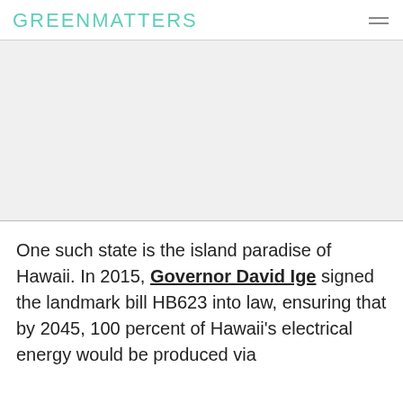GREENMATTERS
[Figure (photo): Large image placeholder area, light gray background]
One such state is the island paradise of Hawaii. In 2015, Governor David Ige signed the landmark bill HB623 into law, ensuring that by 2045, 100 percent of Hawaii's electrical energy would be produced via